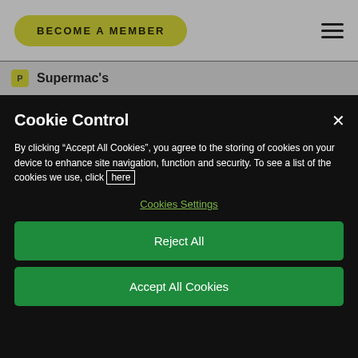BECOME A MEMBER
Supermac's
Cookie Control
By clicking “Accept All Cookies”, you agree to the storing of cookies on your device to enhance site navigation, function and security. To see a list of the cookies we use, click here
Cookies Settings
Reject All
Accept All Cookies